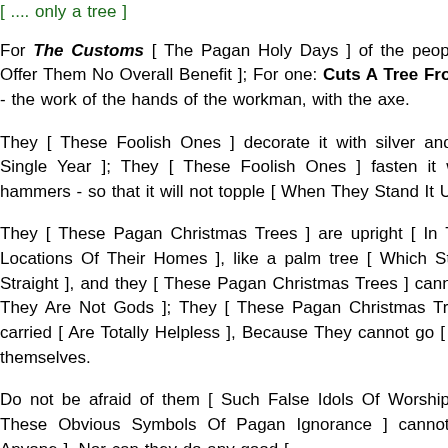[ ... only a tree ] [fragment visible at top]
For The Customs [ The Pagan Holy Days ] of the peoples are futile [ Offer Them No Overall Benefit ]; For one: Cuts A Tree From The Forest - the work of the hands of the workman, with the axe.
They [ These Foolish Ones ] decorate it with silver and gold [ Every Single Year ]; They [ These Foolish Ones ] fasten it with nails and hammers - so that it will not topple [ When They Stand It Upright ].
They [ These Pagan Christmas Trees ] are upright [ In The Prominent Locations Of Their Homes ], like a palm tree [ Which Stands Up Very Straight ], and they [ These Pagan Christmas Trees ] cannot speak [ For They Are Not Gods ]; They [ These Pagan Christmas Trees ] must be carried [ Are Totally Helpless ], Because They cannot go [ anywhere ] by themselves.
Do not be afraid of them [ Such False Idols Of Worship ], For They [ These Obvious Symbols Of Pagan Ignorance ] cannot do evil [ To Anyone ], Nor can they do any good [